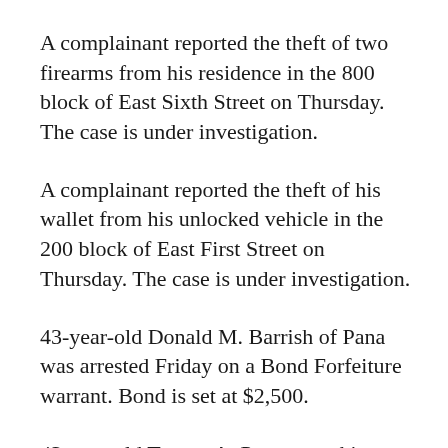A complainant reported the theft of two firearms from his residence in the 800 block of East Sixth Street on Thursday. The case is under investigation.
A complainant reported the theft of his wallet from his unlocked vehicle in the 200 block of East First Street on Thursday. The case is under investigation.
43-year-old Donald M. Barrish of Pana was arrested Friday on a Bond Forfeiture warrant. Bond is set at $2,500.
43-year-old Tyrone A. Powyszynski was arrested Friday in connection to trespassing and property damage in the 400 block of Clay Street.
An altercation was reported between a 24-year-old male and a 17-year-old male in the 200 block of East